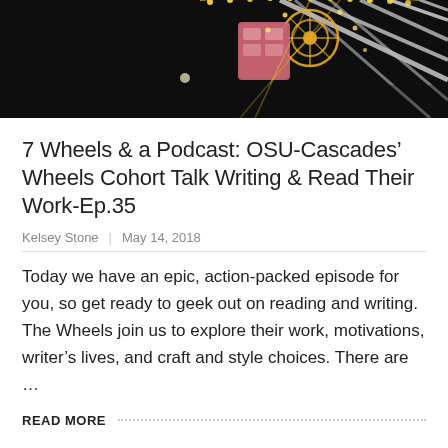[Figure (photo): Nighttime photo of a lit ferris wheel with colorful lights against a dark sky, with white structural beams visible]
7 Wheels & a Podcast: OSU-Cascades' Wheels Cohort Talk Writing & Read Their Work-Ep.35
Kelsey Stone | May 14, 2018
Today we have an epic, action-packed episode for you, so get ready to geek out on reading and writing. The Wheels join us to explore their work, motivations, writer's lives, and craft and style choices. There are ...
READ MORE